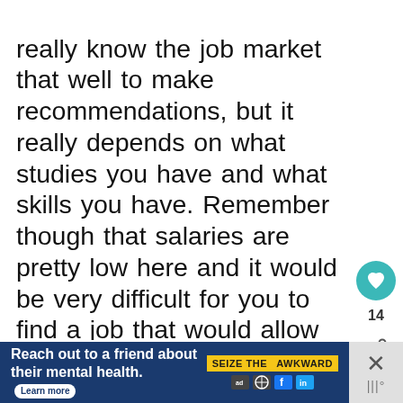really know the job market that well to make recommendations, but it really depends on what studies you have and what skills you have. Remember though that salaries are pretty low here and it would be very difficult for you to find a job that would allow you to support your family if you'd be the only one working. But it all depends on what you can do – salaries in the IT sector are higher than the average and jobs easier to be found, for example
[Figure (infographic): Teal circular heart/like button with count 14, and a share icon below it on the right sidebar]
[Figure (infographic): Advertisement banner: dark blue background with text 'Reach out to a friend about their mental health. Learn more' with 'SEIZE THE AWKWARD' yellow badge and sponsor logos. Close button on the right.]